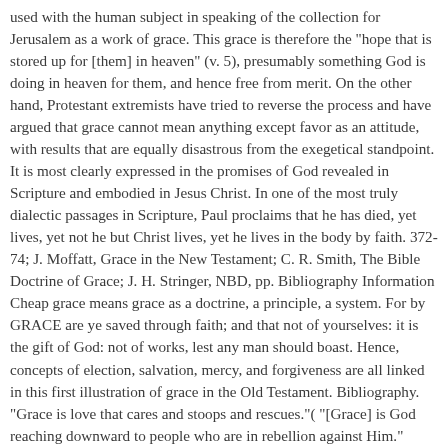used with the human subject in speaking of the collection for Jerusalem as a work of grace. This grace is therefore the "hope that is stored up for [them] in heaven" (v. 5), presumably something God is doing in heaven for them, and hence free from merit. On the other hand, Protestant extremists have tried to reverse the process and have argued that grace cannot mean anything except favor as an attitude, with results that are equally disastrous from the exegetical standpoint. It is most clearly expressed in the promises of God revealed in Scripture and embodied in Jesus Christ. In one of the most truly dialectic passages in Scripture, Paul proclaims that he has died, yet lives, yet not he but Christ lives, yet he lives in the body by faith. 372-74; J. Moffatt, Grace in the New Testament; C. R. Smith, The Bible Doctrine of Grace; J. H. Stringer, NBD, pp. Bibliography Information Cheap grace means grace as a doctrine, a principle, a system. For by GRACE are ye saved through faith; and that not of yourselves: it is the gift of God: not of works, lest any man should boast. Hence, concepts of election, salvation, mercy, and forgiveness are all linked in this first illustration of grace in the Old Testament. Bibliography. "Grace is love that cares and stoops and rescues."( "[Grace] is God reaching downward to people who are in rebellion against Him."(Jerry Bridges) "Grace is unconditional love toward a person who does not deserve it." Grace is most needed and best understood in the midst of sin, suffering, and brokenness. There, in the space of six verses, Moses is said to have found favor with God five times, hen [ej] being translated either "find favor" or "be